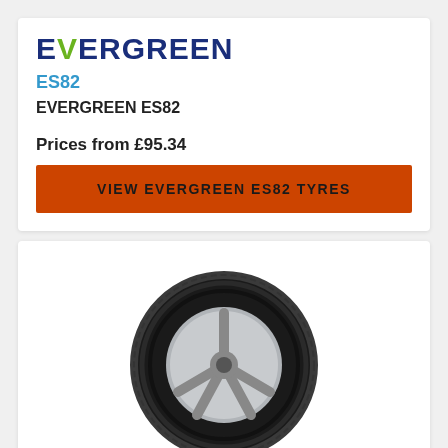[Figure (logo): EVERGREEN brand logo in dark blue bold letters with green V]
ES82
EVERGREEN ES82
Prices from £95.34
VIEW EVERGREEN ES82 TYRES
[Figure (photo): Photo of a car tyre - Evergreen ES82, shown from a slight angle, with 5-spoke silver alloy wheel, black rubber tyre with tread pattern]
[Figure (logo): EVERGREEN brand logo in dark blue bold letters with green V]